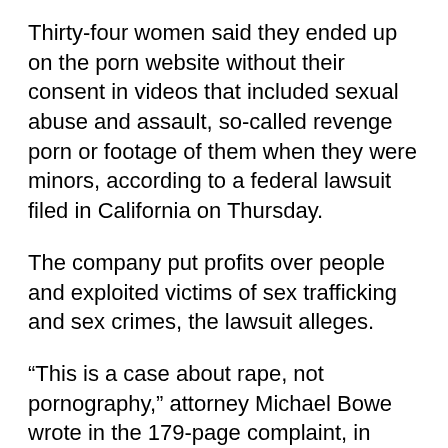Thirty-four women said they ended up on the porn website without their consent in videos that included sexual abuse and assault, so-called revenge porn or footage of them when they were minors, according to a federal lawsuit filed in California on Thursday.
The company put profits over people and exploited victims of sex trafficking and sex crimes, the lawsuit alleges.
“This is a case about rape, not pornography,” attorney Michael Bowe wrote in the 179-page complaint, in which he accuses Pornhub’s parent company Mindgeek of failing to do enough to police non-consensual videos uploaded to its sites.